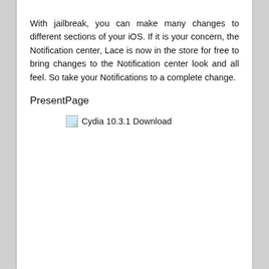With jailbreak, you can make many changes to different sections of your iOS. If it is your concern, the Notification center, Lace is now in the store for free to bring changes to the Notification center look and all feel. So take your Notifications to a complete change.
PresentPage
[Figure (other): Broken image placeholder with alt text 'Cydia 10.3.1 Download']